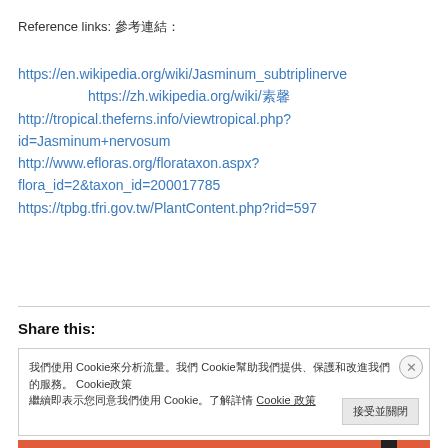Reference links: 參考連結:
https://en.wikipedia.org/wiki/Jasminum_subtriplinerve
https://zh.wikipedia.org/wiki/素馨
http://tropical.theferns.info/viewtropical.php?id=Jasminum+nervosum
http://www.efloras.org/florataxon.aspx?flora_id=2&taxon_id=200017785
https://tpbg.tfri.gov.tw/PlantContent.php?rid=597
Share this:
我們使用 Cookie來分析流量 Cookie幫助我們提供、保護和改進我們的服務 Cookie政策 繼續即表示您同意我們使用 Cookie了解詳情 Cookie 政策